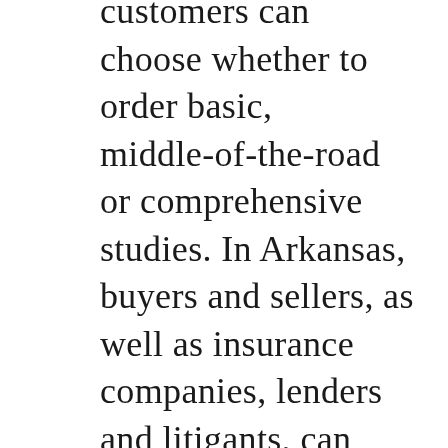customers can choose whether to order basic, middle-of-the-road or comprehensive studies. In Arkansas, buyers and sellers, as well as insurance companies, lenders and litigants, can receive major economic benefits by commissioning detailed appraisals that focus on their specific needs and value perspectives. Ferstl Valuation Services, the largest appraisal firm in Arkansas, has worked with buyers, sellers, bankers, accountants, attorneys and insurance companies for more than 45 years and established an enviable reputation for accuracy and integrity among its